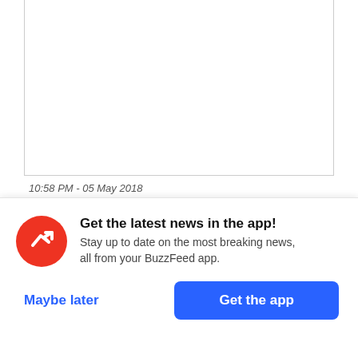[Figure (screenshot): Tweet box (white rectangle with border, content cropped/empty in this view)]
10:58 PM - 05 May 2018
← Reply  ↺ Retweet  ★ Favorite
Nafeesah Attah, who was one of the students pushed off stage while she
[Figure (infographic): BuzzFeed app promotion overlay with red circular logo containing a white trending arrow, headline 'Get the latest news in the app!', subtext 'Stay up to date on the most breaking news, all from your BuzzFeed app.', and two buttons: 'Maybe later' and 'Get the app']